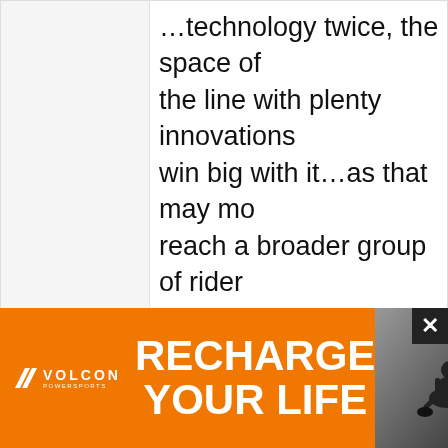…technology twice, the space of the line with plenty innovations win big with it…as that may mo reach a broader group of rider queens that usually are attract
[Figure (other): Reply button — golden/amber rounded rectangle with white reply arrow icon and 'Reply' text]
[Figure (other): User avatar — blue square with white circular badge containing letter D]
new entry into an ultra com…
[Figure (advertisement): Volcon Powersports advertisement banner — orange background, white RECHARGE YOUR LIFE text, Volcon logo on left, action sport rider silhouette on right, X close button]